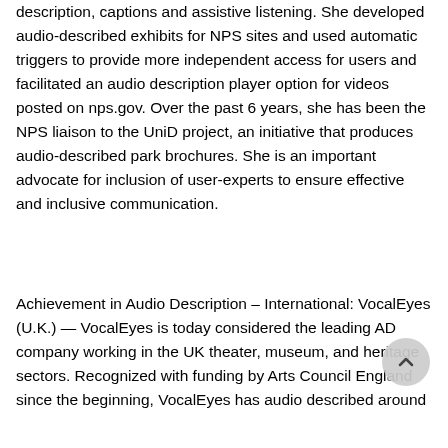description, captions and assistive listening. She developed audio-described exhibits for NPS sites and used automatic triggers to provide more independent access for users and facilitated an audio description player option for videos posted on nps.gov. Over the past 6 years, she has been the NPS liaison to the UniD project, an initiative that produces audio-described park brochures. She is an important advocate for inclusion of user-experts to ensure effective and inclusive communication.
Achievement in Audio Description – International: VocalEyes (U.K.) — VocalEyes is today considered the leading AD company working in the UK theater, museum, and heritage sectors. Recognized with funding by Arts Council England since the beginning, VocalEyes has audio described around